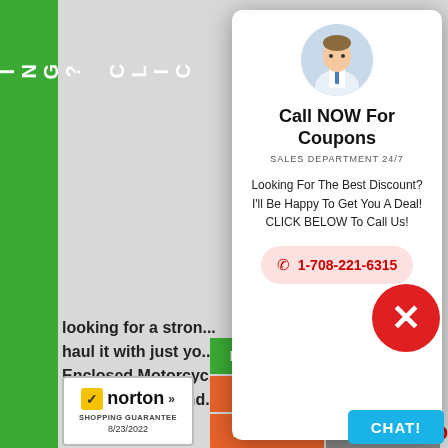FINANCING? CLICK
[Figure (screenshot): Popup modal card with salesman avatar photo, heading 'Call NOW For Coupons', subtitle 'SALES DEPARTMENT 24/7', body text 'Looking For The Best Discount? I'll Be Happy To Get You A Deal! CLICK BELOW To Call Us!', and phone button '1-708-221-6315']
Looking for a strong... haul it with just you... Enclosed Motorcyc... easily pulls behind...
CALL 1-866-606-3...
[Figure (screenshot): Bottom navigation buttons: Financing? (green), Make Offer (blue), Locations (orange), Support (gray), New Items (orange). Red circle close button with X. Cyan CHAT! button.]
[Figure (logo): Norton Shopping Guarantee badge with checkmark, 8/23/2022]